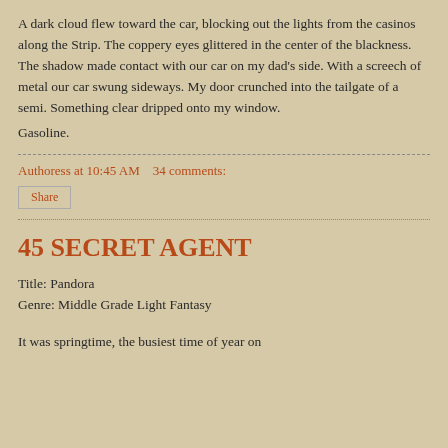A dark cloud flew toward the car, blocking out the lights from the casinos along the Strip. The coppery eyes glittered in the center of the blackness. The shadow made contact with our car on my dad's side. With a screech of metal our car swung sideways. My door crunched into the tailgate of a semi. Something clear dripped onto my window.
Gasoline.
Authoress at 10:45 AM    34 comments:
Share
45 SECRET AGENT
Title: Pandora
Genre: Middle Grade Light Fantasy
It was springtime, the busiest time of year on